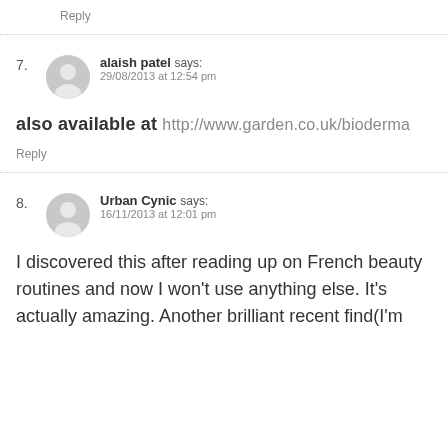Reply
7. alaish patel says: 29/08/2013 at 12:54 pm
also available at http://www.garden.co.uk/bioderma
Reply
8. Urban Cynic says: 16/11/2013 at 12:01 pm
I discovered this after reading up on French beauty routines and now I won't use anything else. It's actually amazing. Another brilliant recent find(I'm